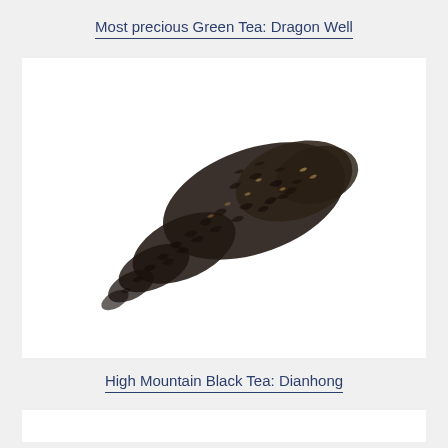Most precious Green Tea: Dragon Well
[Figure (photo): A pile of dark loose-leaf black tea (Dianhong) arranged in a diagonal teardrop or comet shape on a white background, showing dark twisted leaves with some golden tips.]
High Mountain Black Tea: Dianhong
[Figure (photo): Partial view of a white box/panel at the bottom of the page, likely the beginning of another tea image section.]